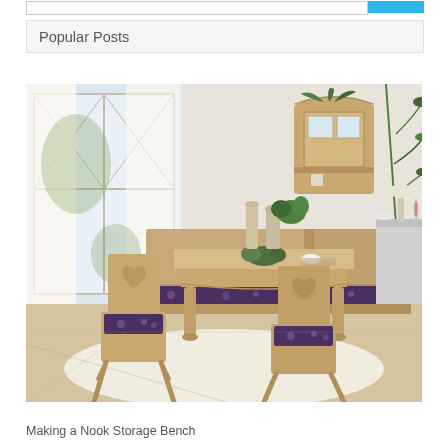Popular Posts
[Figure (photo): A dining room nook with natural wood furniture including a corner bench with dark floral cushions, two wooden chairs with heart cutout backs and dark floral cushions, a square wooden dining table with turned legs, a wall-mounted wooden cabinet with glass door, and green plants on a windowsill. Large windows with sheer curtains in the background and hardwood floor.]
Making a Nook Storage Bench